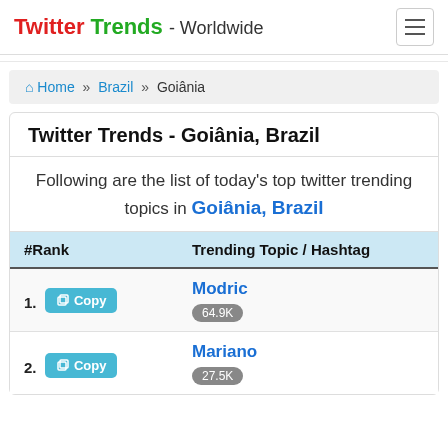Twitter Trends - Worldwide
Home » Brazil » Goiânia
Twitter Trends - Goiânia, Brazil
Following are the list of today's top twitter trending topics in Goiânia, Brazil
| #Rank | Trending Topic / Hashtag |
| --- | --- |
| 1. Copy | Modric 64.9K |
| 2. Copy | Mariano 27.5K |